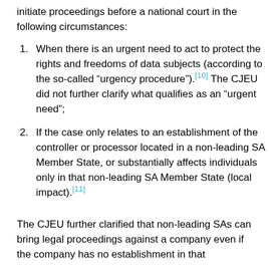initiate proceedings before a national court in the following circumstances:
When there is an urgent need to act to protect the rights and freedoms of data subjects (according to the so-called “urgency procedure”).[10] The CJEU did not further clarify what qualifies as an “urgent need”;
If the case only relates to an establishment of the controller or processor located in a non-leading SA Member State, or substantially affects individuals only in that non-leading SA Member State (local impact).[11]
The CJEU further clarified that non-leading SAs can bring legal proceedings against a company even if the company has no establishment in that